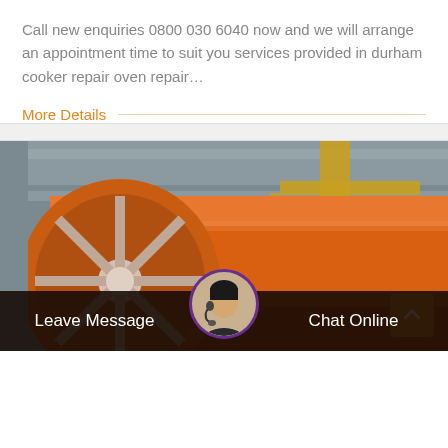Call new enquiries 0800 030 6040 now and we will arrange an appointment time to suit you services provided in durham cooker repair oven repair…
More Details
[Figure (photo): Industrial scene showing a large orange cylindrical drum or roller in a factory/warehouse setting, with structural steel beams and a yellow crane visible in the background. A large circular end cap with spoke-like supports is visible on the left side of the drum.]
Leave Message
Chat Online